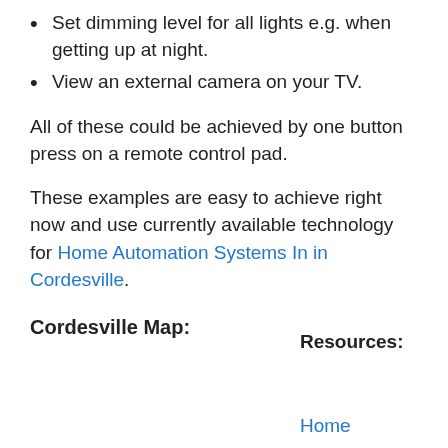Set dimming level for all lights e.g. when getting up at night.
View an external camera on your TV.
All of these could be achieved by one button press on a remote control pad.
These examples are easy to achieve right now and use currently available technology for Home Automation Systems In in Cordesville.
Cordesville Map:
Resources:
Home